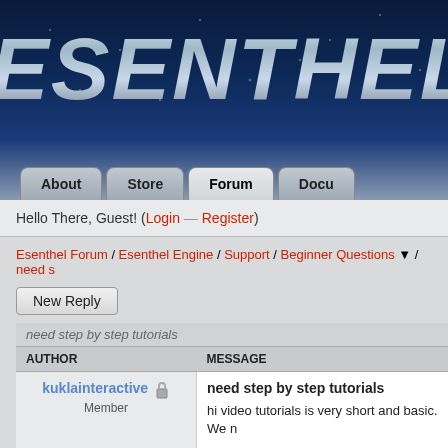[Figure (screenshot): Esenthel website header with dark blue starry space background and large metallic silver italic logo text 'ESENTHEL']
ESENTHEL
Hello There, Guest! (Login — Register)
Esenthel Forum / Esenthel Engine / Support / Beginner Questions ▼ / need s
New Reply
| AUTHOR | MESSAGE |
| --- | --- |
| kuklainteractive 🔒
Member | need step by step tutorials
hi video tutorials is very short and basic. We n

Simple step by step export character with ani and make a scene in visual c++ and use.

Sory my english not well but need more deta

Ps. i know c++ middle level but i dont under |